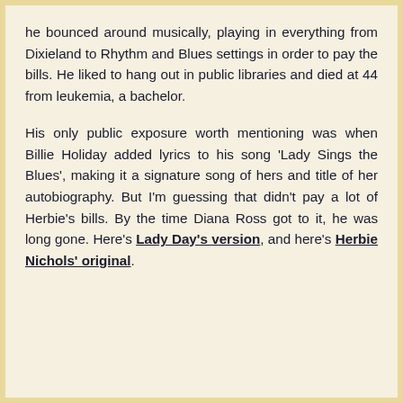he bounced around musically, playing in everything from Dixieland to Rhythm and Blues settings in order to pay the bills. He liked to hang out in public libraries and died at 44 from leukemia, a bachelor.
His only public exposure worth mentioning was when Billie Holiday added lyrics to his song 'Lady Sings the Blues', making it a signature song of hers and title of her autobiography. But I'm guessing that didn't pay a lot of Herbie's bills. By the time Diana Ross got to it, he was long gone. Here's Lady Day's version, and here's Herbie Nichols' original.